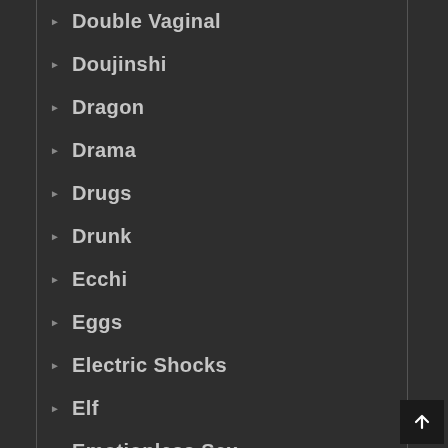Double Vaginal
Doujinshi
Dragon
Drama
Drugs
Drunk
Ecchi
Eggs
Electric Shocks
Elf
Emotionless Sex
Enema
Exhibitionism